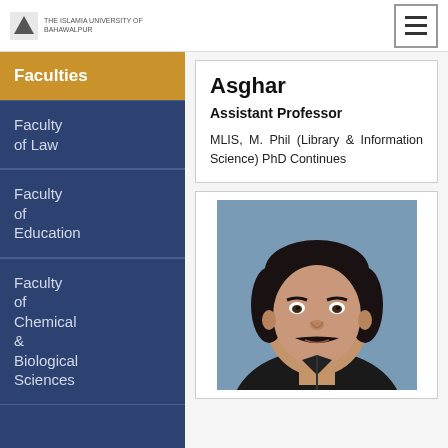University logo and navigation header
Faculties
Faculty of Law
Faculty of Education
Faculty of Chemical & Biological Sciences
Asghar
Assistant Professor
MLIS, M. Phil (Library & Information Science) PhD Continues
[Figure (photo): Headshot photo of a man with dark hair and mustache wearing a dark jacket, against a light blue background]